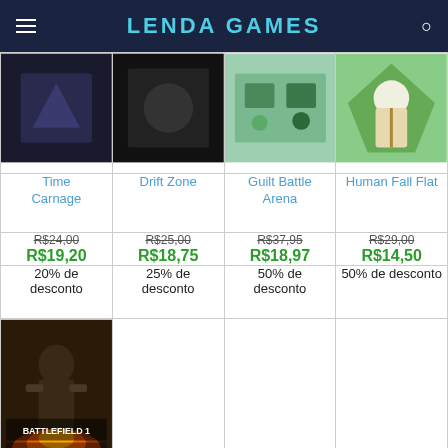LENDA GAMES
| Time Carnage | Drift Zone | Guilt Battle Arena | Human Fall Flat |
| --- | --- | --- | --- |
| [image] | [image] | [image] | [image] |
| Time Carnage | Drift Zone | Guilt Battle Arena | Human Fall Flat |
| R$24,00 / R$19,20 | R$25,00 / R$18,75 | R$37,95 / R$18,97 | R$29,00 / R$14,50 |
| 20% de desconto | 25% de desconto | 50% de desconto | 50% de desconto |
| [Battlefield 1 Premium Pass image] |  |  |  |